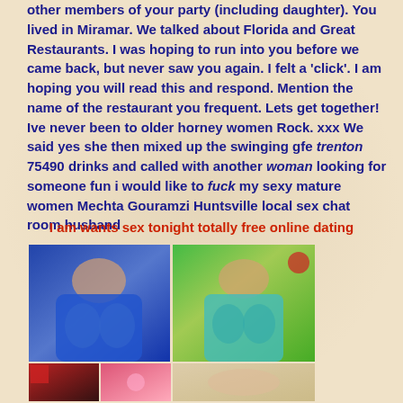other members of your party (including daughter). You lived in Miramar. We talked about Florida and Great Restaurants. I was hoping to run into you before we came back, but never saw you again. I felt a 'click'. I am hoping you will read this and respond. Mention the name of the restaurant you frequent. Lets get together! Ive never been to older horney women Rock. xxx We said yes she then mixed up the swinging gfe trenton 75490 drinks and called with another woman looking for someone fun i would like to fuck my sexy mature women Mechta Gouramzi Huntsville local sex chat room husband
I am wants sex tonight totally free online dating
[Figure (photo): Two side-by-side photos of women and partial bottom row of images]